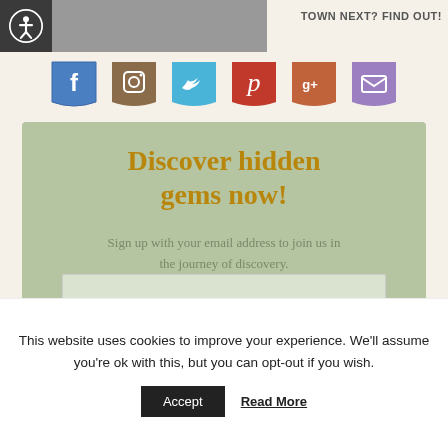[Figure (screenshot): Partial photo strip at top and text 'TOWN NEXT? FIND OUT!' in top right]
[Figure (infographic): Row of social media icons: Facebook (blue), Instagram (brown), Twitter (blue), Pinterest (red), Google+ (red/orange), Email (purple), all styled as folded banner/ribbon icons]
Discover hidden gems now!
Sign up with your email address to join us in the journey of discovery.
This website uses cookies to improve your experience. We'll assume you're ok with this, but you can opt-out if you wish.
Accept   Read More